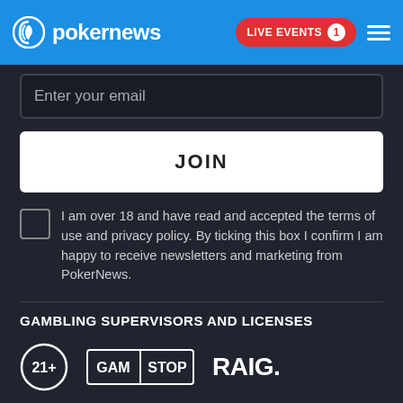pokernews | LIVE EVENTS 1
Enter your email
JOIN
I am over 18 and have read and accepted the terms of use and privacy policy. By ticking this box I confirm I am happy to receive newsletters and marketing from PokerNews.
GAMBLING SUPERVISORS AND LICENSES
[Figure (logo): 21+ age restriction logo, GamStop logo, RAIG. logo]